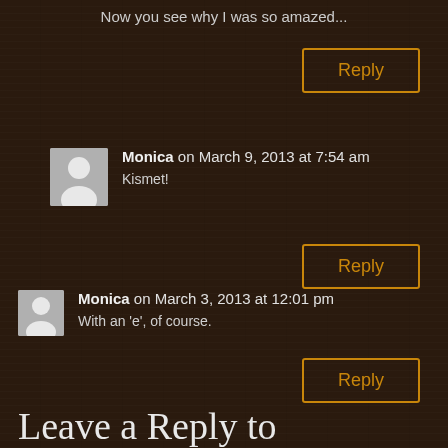Now you see why I was so amazed...
Reply
Monica on March 9, 2013 at 7:54 am
Kismet!
Reply
Monica on March 3, 2013 at 12:01 pm
With an 'e', of course.
Reply
Leave a Reply to